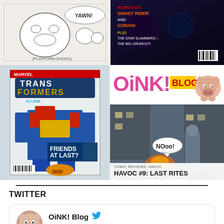[Figure (illustration): Sketch comic panel with 'YAWN!' speech bubble and 'Platform Shoes' caption]
[Figure (photo): Dark comic book cover featuring RoboCop, Ghost Rider, Conan with text 'Plus The Star Slammers – The Big Crunch']
[Figure (photo): Transformers comic book cover, Marvel, featuring Optimus Prime and GI Joe, 'FRIENDS AT LAST?']
[Figure (illustration): Oink! Blog banner logo with pink cartoon pig character]
[Figure (illustration): Havoc #9 comic panel showing dark alley scene with 'NOOO!' speech bubble, tagged COMIC REVIEWS: HAVOC, title HAVOC #9: LAST RITES]
TWITTER
[Figure (screenshot): Tweet card from OiNK! Blog @Oin... · 2h with pig avatar and Twitter bird icon]